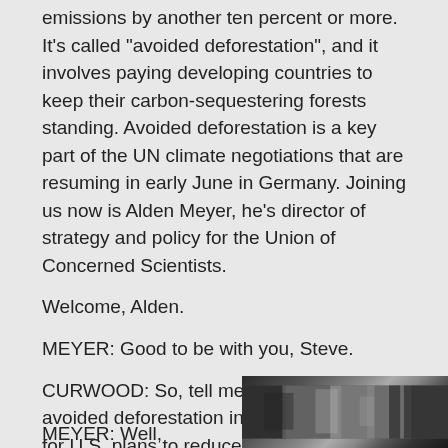emissions by another ten percent or more. It's called "avoided deforestation", and it involves paying developing countries to keep their carbon-sequestering forests standing. Avoided deforestation is a key part of the UN climate negotiations that are resuming in early June in Germany. Joining us now is Alden Meyer, he's director of strategy and policy for the Union of Concerned Scientists.
Welcome, Alden.
MEYER: Good to be with you, Steve.
CURWOOD: So, tell me, what could avoided deforestation in other countries do for U.S. plans to reduce greenhouse gas emissions? I mean, just how big a deal is this?
MEYER: Well,
[Figure (photo): Black and white photo of a person, partially visible at bottom right of page]